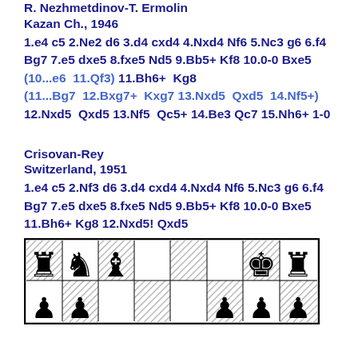R. Nezhmetdinov-T. Ermolin
Kazan Ch., 1946
1.e4 c5 2.Ne2 d6 3.d4 cxd4 4.Nxd4 Nf6 5.Nc3 g6 6.f4 Bg7 7.e5 dxe5 8.fxe5 Nd5 9.Bb5+ Kf8 10.0-0 Bxe5 (10...e6 11.Qf3) 11.Bh6+ Kg8 (11...Bg7 12.Bxg7+ Kxg7 13.Nxd5 Qxd5 14.Nf5+) 12.Nxd5 Qxd5 13.Nf5 Qc5+ 14.Be3 Qc7 15.Nh6+ 1-0
Crisovan-Rey
Switzerland, 1951
1.e4 c5 2.Nf3 d6 3.d4 cxd4 4.Nxd4 Nf6 5.Nc3 g6 6.f4 Bg7 7.e5 dxe5 8.fxe5 Nd5 9.Bb5+ Kf8 10.0-0 Bxe5 11.Bh6+ Kg8 12.Nxd5! Qxd5
[Figure (other): Chess board diagram showing position after 12.Nxd5! Qxd5, with pieces on back rank: rook, knight, bishop on queenside dark squares; king and rook on kingside; pawns on second rank]